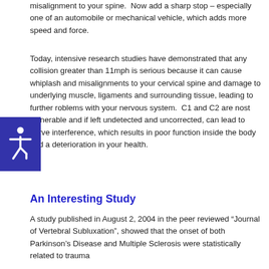misalignment to your spine.  Now add a sharp stop – especially one of an automobile or mechanical vehicle, which adds more speed and force.
Today, intensive research studies have demonstrated that any collision greater than 11mph is serious because it can cause whiplash and misalignments to your cervical spine and damage to underlying muscle, ligaments and surrounding tissue, leading to further problems with your nervous system.  C1 and C2 are most vulnerable and if left undetected and uncorrected, can lead to nerve interference, which results in poor function inside the body and a deterioration in your health.
An Interesting Study
A study published in August 2, 2004 in the peer reviewed “Journal of Vertebral Subluxation”, showed that the onset of both Parkinson’s Disease and Multiple Sclerosis were statistically related to trauma